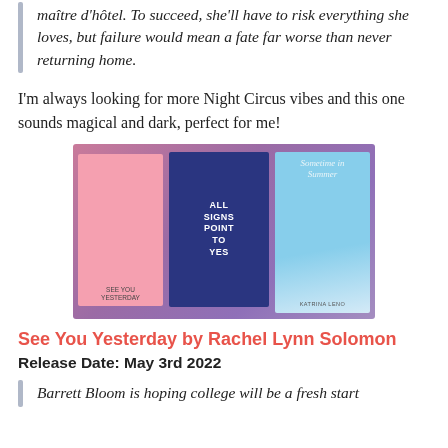maître d'hôtel. To succeed, she'll have to risk everything she loves, but failure would mean a fate far worse than never returning home.
I'm always looking for more Night Circus vibes and this one sounds magical and dark, perfect for me!
[Figure (photo): Three book covers displayed side by side: a pink cover (See You Yesterday), a dark blue cover (All Signs Point to Yes), and a light blue cover (Sometime in Summer by Katrina Leno), set against a purple-pink gradient background.]
See You Yesterday by Rachel Lynn Solomon
Release Date: May 3rd 2022
Barrett Bloom is hoping college will be a fresh start